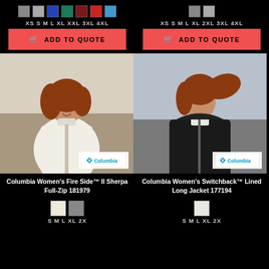[Figure (other): Color swatches for product 1: grey, grey, blue, teal, dark red, red, light blue]
[Figure (other): Color swatches for product 2: grey, grey]
XS S M L XL XXL 3XL 4XL
XS S M L XL 2XL 3XL 4XL
ADD TO QUOTE
ADD TO QUOTE
[Figure (photo): Woman wearing Columbia Women's Fire Side II Sherpa Full-Zip jacket in cream/white color, outdoors]
[Figure (photo): Woman wearing Columbia Women's Switchback Lined Long Jacket in black color, outdoors]
Columbia Women's Fire Side™ II Sherpa Full-Zip 181979
Columbia Women's Switchback™ Lined Long Jacket 177194
[Figure (other): Color swatches for bottom product 1: cream/white, grey]
[Figure (other): Color swatch for bottom product 2: light grey/white]
S M L XL 2X
S M L XL 2X